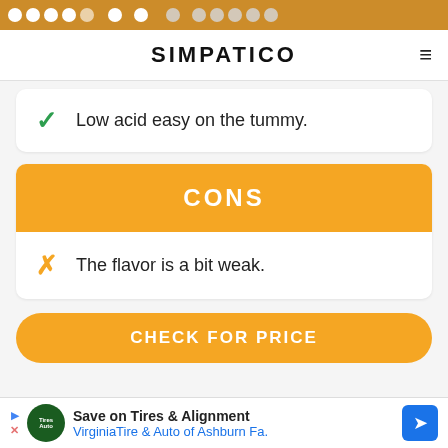SIMPATICO
Low acid easy on the tummy.
CONS
The flavor is a bit weak.
CHECK FOR PRICE
Save on Tires & Alignment  VirginiaTire & Auto of Ashburn Fa.